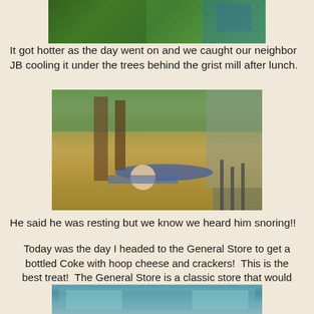[Figure (photo): Partial photo at top of page showing green equipment or vehicle and a person in blue, cropped]
It got hotter as the day went on and we caught our neighbor JB cooling it under the trees behind the grist mill after lunch.
[Figure (photo): Photo of a person lying on a cot or lawn chair under trees, with several people standing in the background near stairs of a building]
He said he was resting but we know we heard him snoring!!
Today was the day I headed to the General Store to get a bottled Coke with hoop cheese and crackers!  This is the best treat!  The General Store is a classic store that would have been in every small town.
[Figure (photo): Partial photo at bottom of page, cropped, showing blue/teal colored building or structure]